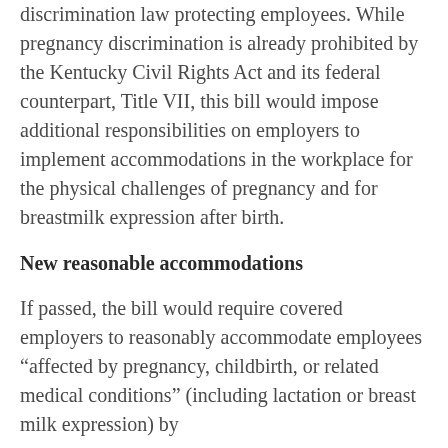discrimination law protecting employees. While pregnancy discrimination is already prohibited by the Kentucky Civil Rights Act and its federal counterpart, Title VII, this bill would impose additional responsibilities on employers to implement accommodations in the workplace for the physical challenges of pregnancy and for breastmilk expression after birth.
New reasonable accommodations
If passed, the bill would require covered employers to reasonably accommodate employees “affected by pregnancy, childbirth, or related medical conditions” (including lactation or breast milk expression) by